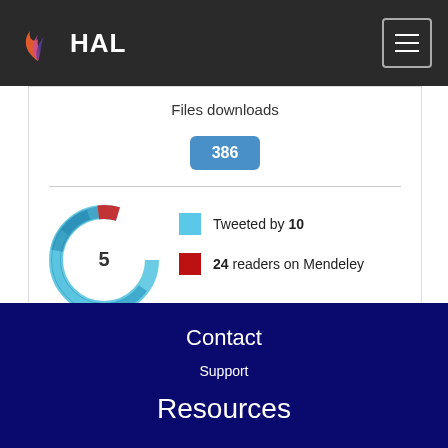HAL
Files downloads
386
[Figure (donut-chart): Altmetric donut chart showing score of 5, with blue ring representing Twitter activity and red segment representing Mendeley readers]
Tweeted by 10
24 readers on Mendeley
See more details
Contact
Support
Resources